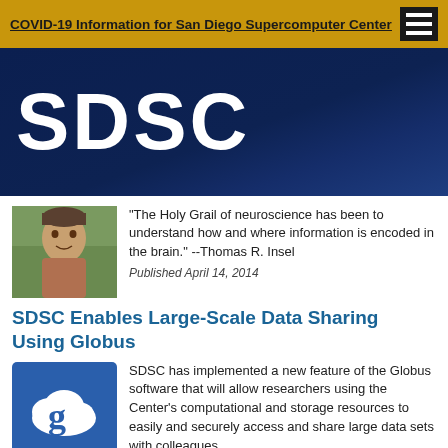COVID-19 Information for San Diego Supercomputer Center
[Figure (logo): SDSC logo on dark navy blue banner background]
“The Holy Grail of neuroscience has been to understand how and where information is encoded in the brain.” --Thomas R. Insel
Published April 14, 2014
SDSC Enables Large-Scale Data Sharing Using Globus
SDSC has implemented a new feature of the Globus software that will allow researchers using the Center’s computational and storage resources to easily and securely access and share large data sets with colleagues.
Published April 7, 2014